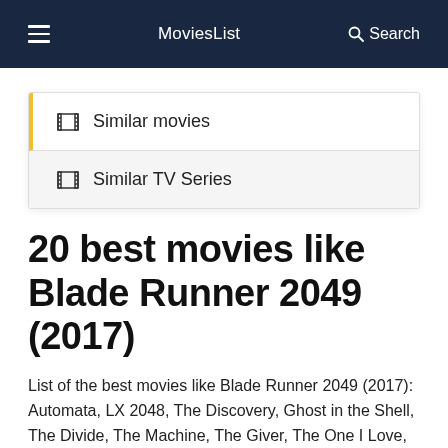MoviesList  Search
Similar movies
Similar TV Series
20 best movies like Blade Runner 2049 (2017)
List of the best movies like Blade Runner 2049 (2017): Automata, LX 2048, The Discovery, Ghost in the Shell, The Divide, The Machine, The Giver, The One I Love, Her, Chappie.